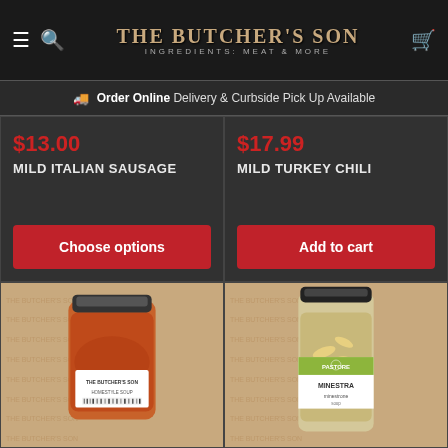THE BUTCHER'S SON — INGREDIENTS: MEAT & MORE
Order Online Delivery & Curbside Pick Up Available
$13.00
MILD ITALIAN SAUSAGE
Choose options
$17.99
MILD TURKEY CHILI
Add to cart
[Figure (photo): Jar of The Butcher's Son homestyle soup with tomato-based broth on branded paper background]
[Figure (photo): Jar of Pastore brand minestra pasta/bean soup on branded paper background]